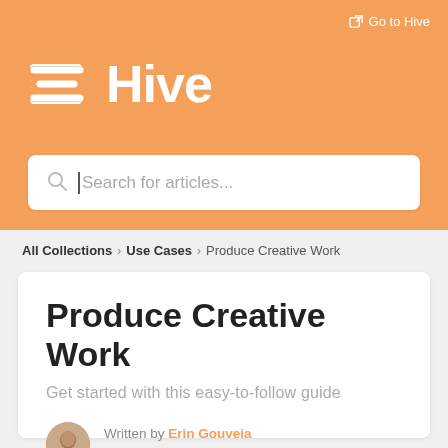[Figure (logo): Hive logo with hamburger menu icon and word 'Hive' in white on orange background]
Go to Hive
Search for articles...
All Collections > Use Cases > Produce Creative Work
Produce Creative Work
Get started with this easy-to-follow guide
Written by Erin Gouveia
Updated over a week ago